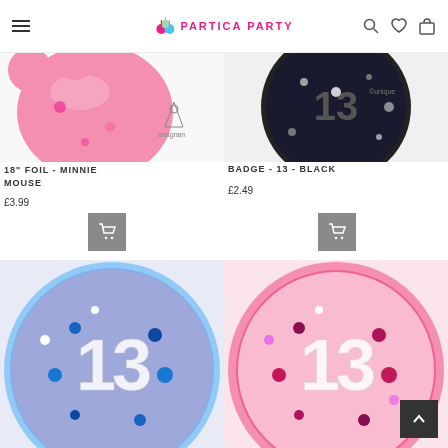PARTICA PARTY
[Figure (photo): 18 inch foil Minnie Mouse balloon, pink with Anagram logo]
18" FOIL - MINNIE MOUSE
£3.99
[Figure (photo): Badge number 13 black background with Unique logo]
BADGE - 13 - BLACK
£2.49
[Figure (photo): Blue glitter badge with number 13 and confetti dots]
[Figure (photo): Pink glitter badge with number 13 and confetti dots]